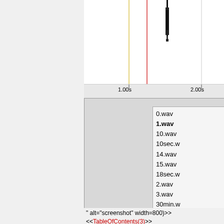[Figure (screenshot): Audio waveform editor screenshot showing waveform display with timeline markers at 1.00s and 2.00s, and a dropdown file list showing wav files: 0.wav, 1.wav (selected/bold), 10.wav, 10sec.w..., 14.wav, 15.wav, 18sec.w..., 2.wav, 3.wav, 30min.w..., 4.wav]
" alt="screenshot" width=800)>>
<<TableOfContents(3)>>